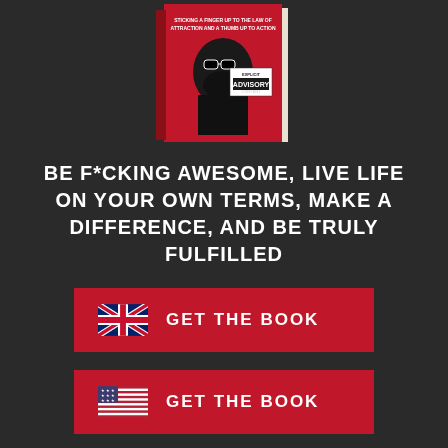[Figure (illustration): Book cover with red background, man with sunglasses and beard, 'EXPLICIT ADVISORY CONTENT' sticker, text 'STICKING A FINGER UP TO THE LAW OF ATTRACTION AND A THUMB UP TO ACTION']
BE F*CKING AWESOME, LIVE LIFE ON YOUR OWN TERMS, MAKE A DIFFERENCE, AND BE TRULY FULFILLED
GET THE BOOK (UK flag button)
GET THE BOOK (US flag button)